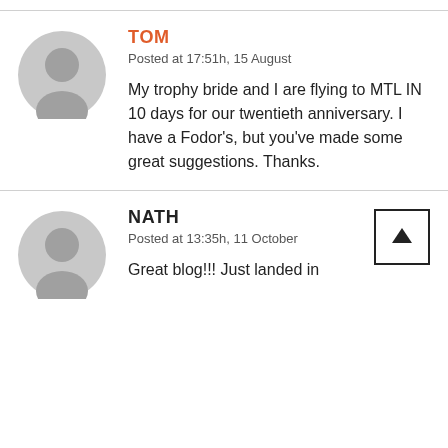[Figure (illustration): Gray placeholder avatar icon for Tom]
TOM
Posted at 17:51h, 15 August
My trophy bride and I are flying to MTL IN 10 days for our twentieth anniversary. I have a Fodor's, but you've made some great suggestions. Thanks.
[Figure (illustration): Gray placeholder avatar icon for Nath]
NATH
Posted at 13:35h, 11 October
Great blog!!! Just landed in